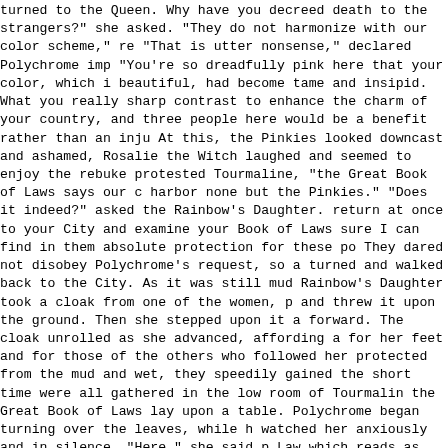turned to the Queen.  Why have you decreed death to the strangers?" she asked.
        "They do not harmonize with our color scheme," re
        "That is utter nonsense," declared Polychrome imp "You're so dreadfully pink here that your color, which i beautiful, had become tame and insipid.  What you really sharp contrast to enhance the charm of your country, and three people here would be a benefit rather than an inju
        At this, the Pinkies looked downcast and ashamed, Rosalie the Witch laughed and seemed to enjoy the rebuke protested Tourmaline, "the Great Book of Laws says our c harbor none but the Pinkies."
        "Does it indeed?" asked the Rainbow's Daughter. return at once to your City and examine your Book of Laws sure I can find in them absolute protection for these po
        They dared not disobey Polychrome's request, so a turned and walked back to the City.  As it was still mud Rainbow's Daughter took a cloak from one of the women, p and threw it upon the ground.  Then she stepped upon it a forward.  The cloak unrolled as she advanced, affording a for her feet and for those of the others who followed he protected from the mud and wet, they speedily gained the short time were all gathered in the low room of Tourmalin the Great Book of Laws lay upon a table.
        Polychrome began turning over the leaves, while h watched her anxiously and in silence.  "Here," she said p Law which reads as follows: 'Everyone in the Pink Country the protection of the Ruler and to a house and a good liv the Blueskins.  If any of the natives of the Blue Country break through the Fog Bank, they must be driven back with Have you read this law, Tourmaline?"